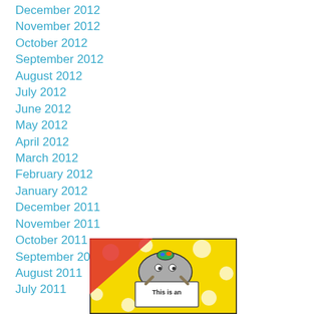December 2012
November 2012
October 2012
September 2012
August 2012
July 2012
June 2012
May 2012
April 2012
March 2012
February 2012
January 2012
December 2011
November 2011
October 2011
September 2011
August 2011
July 2011
[Figure (illustration): Cartoon illustration of a character holding a sign that reads 'This is an...' on a yellow background with white polka dots, red diagonal element, and colorful details.]